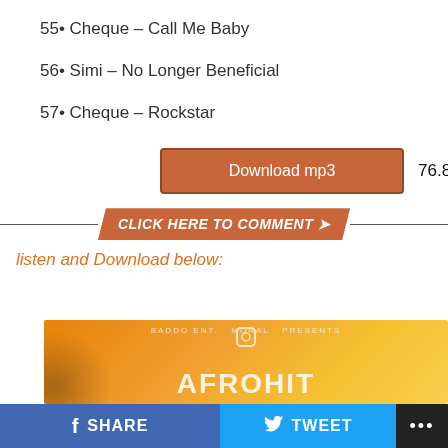55• Cheque – Call Me Baby
56• Simi – No Longer Beneficial
57• Cheque – Rockstar
Download mp3   76.82 Mb
[Figure (infographic): Orange banner button with text CLICK HERE TO COMMENT and arrow icon, flanked by horizontal lines]
listen and Download below:
[Figure (photo): Album art with orange/yellow tropical background, palm trees silhouette and text AFROHIT, with small label BADDO ENT. MORAL PRESENTS at top]
SHARE   TWEET   ...